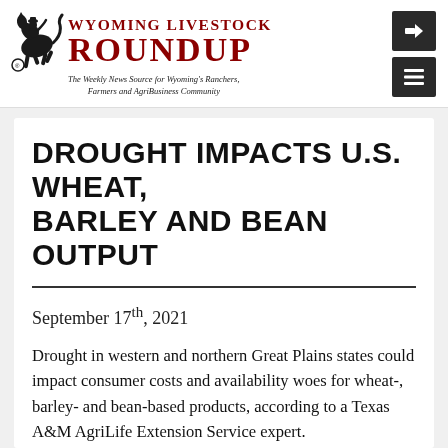Wyoming Livestock Roundup – The Weekly News Source for Wyoming's Ranchers, Farmers and AgriBusiness Community
DROUGHT IMPACTS U.S. WHEAT, BARLEY AND BEAN OUTPUT
September 17th, 2021
Drought in western and northern Great Plains states could impact consumer costs and availability woes for wheat-, barley- and bean-based products, according to a Texas A&M AgriLife Extension Service expert.